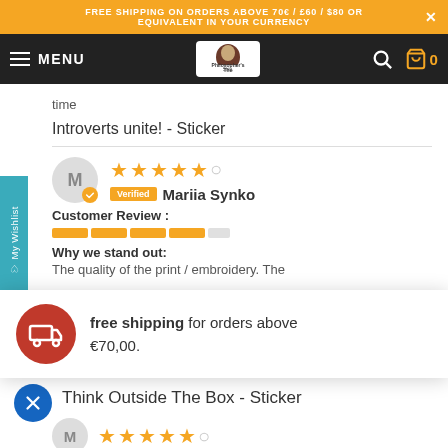FREE SHIPPING ON ORDERS ABOVE 70€ / £60 / $80 OR EQUIVALENT IN YOUR CURRENCY
[Figure (screenshot): Website navigation bar with menu, The Philosopher's Shirt logo, search icon, and cart showing 0]
time
Introverts unite! - Sticker
M
Verified  Mariia Synko
Customer Review :
Why we stand out:
The quality of the print / embroidery. The
free shipping for orders above €70,00.
Think Outside The Box - Sticker